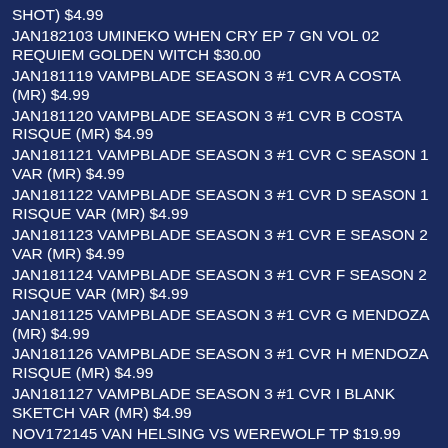SHOT) $4.99
JAN182103 UMINEKO WHEN CRY EP 7 GN VOL 02 REQUIEM GOLDEN WITCH $30.00
JAN181119 VAMPBLADE SEASON 3 #1 CVR A COSTA (MR) $4.99
JAN181120 VAMPBLADE SEASON 3 #1 CVR B COSTA RISQUE (MR) $4.99
JAN181121 VAMPBLADE SEASON 3 #1 CVR C SEASON 1 VAR (MR) $4.99
JAN181122 VAMPBLADE SEASON 3 #1 CVR D SEASON 1 RISQUE VAR (MR) $4.99
JAN181123 VAMPBLADE SEASON 3 #1 CVR E SEASON 2 VAR (MR) $4.99
JAN181124 VAMPBLADE SEASON 3 #1 CVR F SEASON 2 RISQUE VAR (MR) $4.99
JAN181125 VAMPBLADE SEASON 3 #1 CVR G MENDOZA (MR) $4.99
JAN181126 VAMPBLADE SEASON 3 #1 CVR H MENDOZA RISQUE (MR) $4.99
JAN181127 VAMPBLADE SEASON 3 #1 CVR I BLANK SKETCH VAR (MR) $4.99
NOV172145 VAN HELSING VS WEREWOLF TP $19.99
FEB181053 WATER DRAGON BRIDE GN VOL 05 $9.99